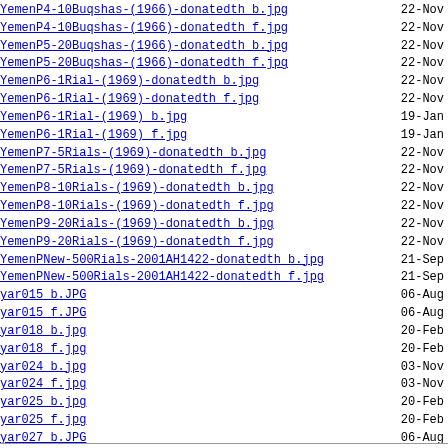YemenP4-10Buqshas-(1966)-donatedth b.jpg    22-Nov
YemenP4-10Buqshas-(1966)-donatedth f.jpg    22-Nov
YemenP5-20Buqshas-(1966)-donatedth b.jpg    22-Nov
YemenP5-20Buqshas-(1966)-donatedth f.jpg    22-Nov
YemenP6-1Rial-(1969)-donatedth b.jpg    22-Nov
YemenP6-1Rial-(1969)-donatedth f.jpg    22-Nov
YemenP6-1Rial-(1969) b.jpg    19-Jan
YemenP6-1Rial-(1969) f.jpg    19-Jan
YemenP7-5Rials-(1969)-donatedth b.jpg    22-Nov
YemenP7-5Rials-(1969)-donatedth f.jpg    22-Nov
YemenP8-10Rials-(1969)-donatedth b.jpg    22-Nov
YemenP8-10Rials-(1969)-donatedth f.jpg    22-Nov
YemenP9-20Rials-(1969)-donatedth b.jpg    22-Nov
YemenP9-20Rials-(1969)-donatedth f.jpg    22-Nov
YemenPNew-500Rials-2001AH1422-donatedth b.jpg    21-Sep
YemenPNew-500Rials-2001AH1422-donatedth f.jpg    21-Sep
yar015 b.JPG    06-Aug
yar015 f.JPG    06-Aug
yar018 b.jpg    20-Feb
yar018 f.jpg    20-Feb
yar024 b.jpg    03-Nov
yar024 f.jpg    03-Nov
yar025 b.jpg    20-Feb
yar025 f.jpg    20-Feb
yar027 b.JPG    06-Aug
yar027 f.JPG    06-Aug
yar028 b.JPG    06-Aug
yar028 f.JPG    06-Aug